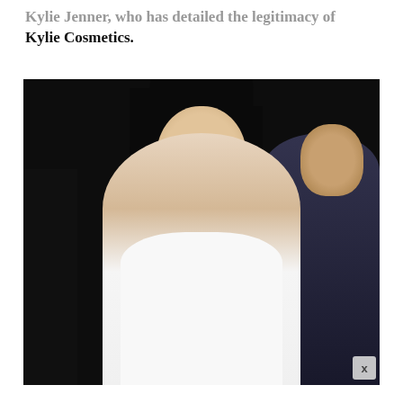Kylie Jenner, who has detailed the legitimacy of Kylie Cosmetics.
[Figure (photo): Photo of a young woman with dark hair wearing a white top, photographed outdoors at night with a man in a blue jacket visible in the background on the right side.]